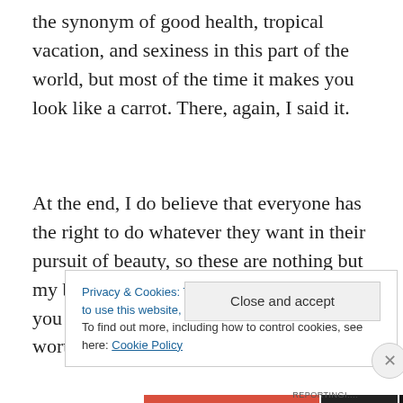the synonym of good health, tropical vacation, and sexiness in this part of the world, but most of the time it makes you look like a carrot. There, again, I said it.
At the end, I do believe that everyone has the right to do whatever they want in their pursuit of beauty, so these are nothing but my biased personal opinions. If it made you laugh, however, I'd consider this post worthwhile.
Privacy & Cookies: This site uses cookies. By continuing to use this website, you agree to their use.
To find out more, including how to control cookies, see here: Cookie Policy